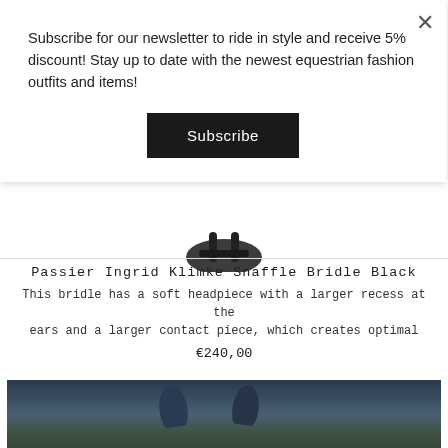Subscribe for our newsletter to ride in style and receive 5% discount! Stay up to date with the newest equestrian fashion outfits and items!
Subscribe
[Figure (photo): Partial view of a black equestrian bridle/snaffle product]
Passier Ingrid Klimke Snaffle Bridle Black
This bridle has a soft headpiece with a larger recess at the ears and a larger contact piece, which creates optimal
€240,00
[Figure (photo): Photo of a horse wearing a navy/dark blue bridle with flynet ear covers, green blurred background, close-up from behind/above showing the ears]